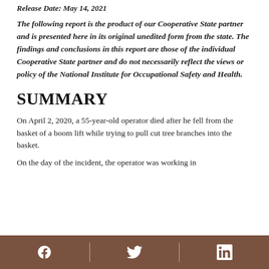Release Date: May 14, 2021
The following report is the product of our Cooperative State partner and is presented here in its original unedited form from the state. The findings and conclusions in this report are those of the individual Cooperative State partner and do not necessarily reflect the views or policy of the National Institute for Occupational Safety and Health.
SUMMARY
On April 2, 2020, a 55-year-old operator died after he fell from the basket of a boom lift while trying to pull cut tree branches into the basket.
On the day of the incident, the operator was working in
Facebook | Twitter | LinkedIn